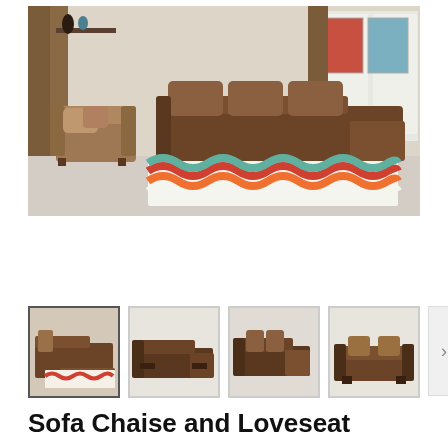[Figure (photo): Main product photo showing a brown sofa chaise and loveseat set in a living room setting with colorful wavy rug and wall art]
[Figure (photo): Thumbnail 1 (selected): Room view of sofa set with colorful rug]
[Figure (photo): Thumbnail 2: Side view of sofa chaise set]
[Figure (photo): Thumbnail 3: Sofa chaise from different angle]
[Figure (photo): Thumbnail 4: Loveseat close-up]
Sofa Chaise and Loveseat